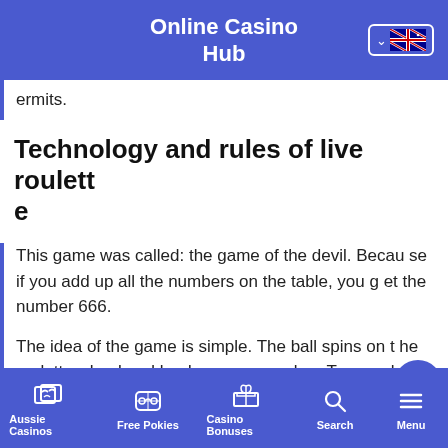Online Casino Hub
ermits.
Technology and rules of live roulette
This game was called: the game of the devil. Because if you add up all the numbers on the table, you get the number 666.
The idea of the game is simple. The ball spins on the roulette wheel and lands on any number. The player who bets on that number or one of the charact
Aussie Casinos | Free Pokies | Casino Bonuses | Search | Menu